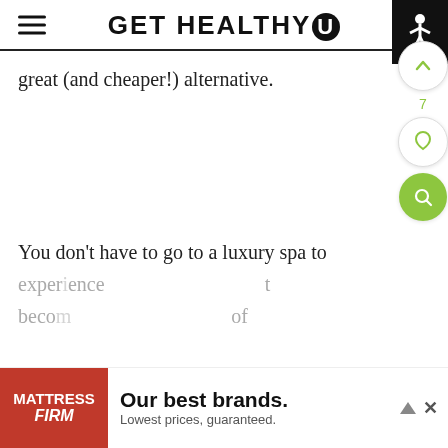GET HEALTHY U
great (and cheaper!) alternative.
You don't have to go to a luxury spa to experience... become... of
[Figure (screenshot): Mattress Firm advertisement banner: red logo on left, 'Our best brands. Lowest prices, guaranteed.' text on right]